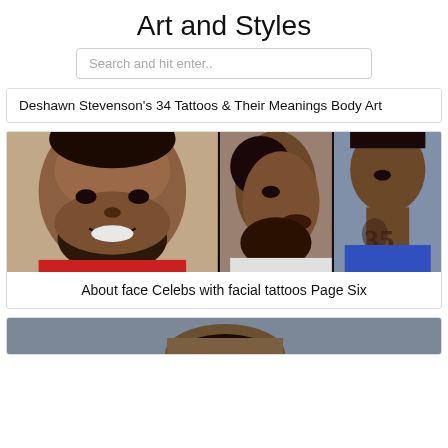Art and Styles
Search and hit enter..
Deshawn Stevenson's 34 Tattoos & Their Meanings Body Art
[Figure (photo): Collage of three face close-up photos showing celebrities with facial/neck tattoos]
About face Celebs with facial tattoos Page Six
[Figure (photo): Partial photo at bottom of page showing top of a person's head]